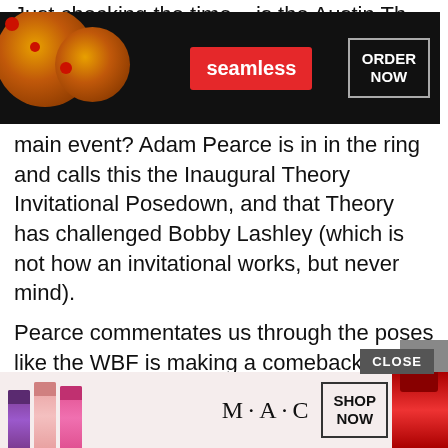Just checking the time – is the Austin Th
[Figure (screenshot): Seamless pizza delivery advertisement banner with pizza image on left, red 'seamless' logo in center, and 'ORDER NOW' button on right, on dark background]
main event? Adam Pearce is in in the ring and calls this the Inaugural Theory Invitational Posedown, and that Theory has challenged Bobby Lashley (which is not how an invitational works, but never mind).
Pearce commentates us through the poses like the WBF is making a comeback, and we get to the end quickly (but not quickly enough) where the crowd votes Lashley as the winner and Theory sucker-pu
[Figure (screenshot): MAC cosmetics advertisement banner showing lipsticks in purple, pink, and red, MAC logo, and 'SHOP NOW' button. A 'CLOSE' button overlay appears above it.]